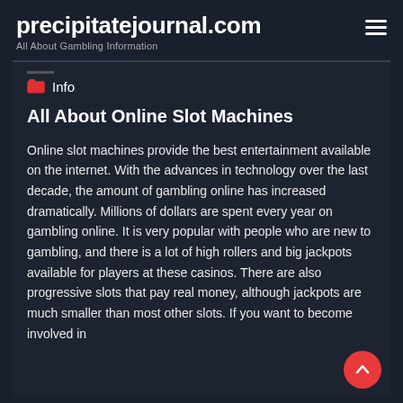precipitatejournal.com
All About Gambling Information
Info
All About Online Slot Machines
Online slot machines provide the best entertainment available on the internet. With the advances in technology over the last decade, the amount of gambling online has increased dramatically. Millions of dollars are spent every year on gambling online. It is very popular with people who are new to gambling, and there is a lot of high rollers and big jackpots available for players at these casinos. There are also progressive slots that pay real money, although jackpots are much smaller than most other slots. If you want to become involved in